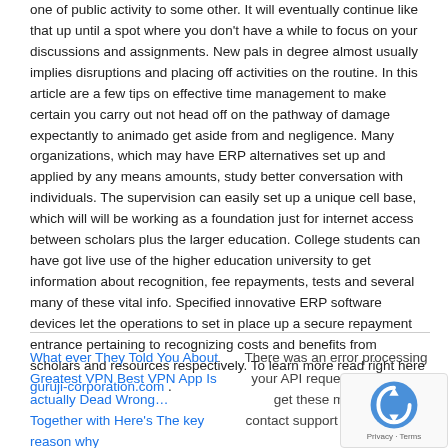one of public activity to some other. It will eventually continue like that up until a spot where you don't have a while to focus on your discussions and assignments. New pals in degree almost usually implies disruptions and placing off activities on the routine. In this article are a few tips on effective time management to make certain you carry out not head off on the pathway of damage expectantly to animado get aside from and negligence. Many organizations, which may have ERP alternatives set up and applied by any means amounts, study better conversation with individuals. The supervision can easily set up a unique cell base, which will will be working as a foundation just for internet access between scholars plus the larger education. College students can have got live use of the higher education university to get information about recognition, fee repayments, tests and several many of these vital info. Specified innovative ERP software devices let the operations to set in place up a secure repayment entrance pertaining to recognizing costs and benefits from scholars and resources respectively. To learn more read right here guruji-corporation.com .
What ever They Told You About Greatest VPN Best VPN App Is actually Dead Wrong… Together with Here's The key reason why
There was an error processing your API request. If you continue to get these messages, contact support with reference